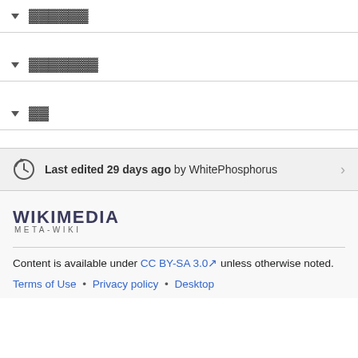▾ ▓▓▓▓▓▓
▾ ▓▓▓▓▓▓▓
▾ ▓▓
Last edited 29 days ago by WhitePhosphorus
[Figure (logo): Wikimedia Meta-Wiki logo]
Content is available under CC BY-SA 3.0 unless otherwise noted.
Terms of Use • Privacy policy • Desktop